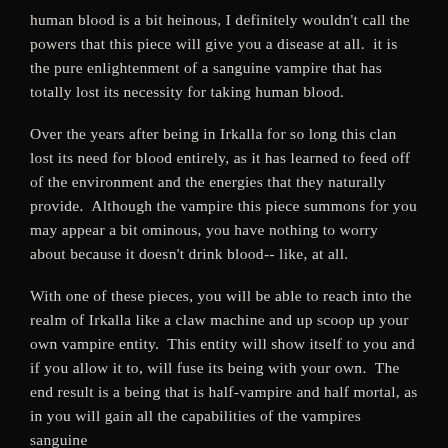human blood is a bit heinous, I definitely wouldn't call the powers that this piece will give you a disease at all.  it is the pure enlightenment of a sanguine vampire that has totally lost its necessity for taking human blood.
Over the years after being in Irkalla for so long this clan lost its need for blood entirely, as it has learned to feed off of the environment and the energies that they naturally provide.  Although the vampire this piece summons for you may appear a bit ominous, you have nothing to worry about because it doesn't drink blood-- like, at all.
With one of these pieces, you will be able to reach into the realm of Irkalla like a claw machine and up scoop up your own vampire entity.  This entity will show itself to you and if you allow it to, will fuse its being with your own.  The end result is a being that is half-vampire and half mortal, as in you will gain all the capabilities of the vampires sanguine